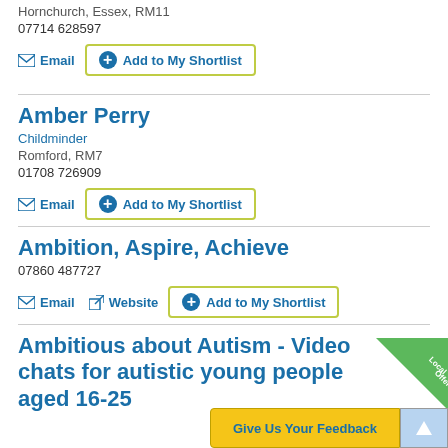Hornchurch, Essex, RM11
07714 628597
Email   Add to My Shortlist
Amber Perry
Childminder
Romford, RM7
01708 726909
Email   Add to My Shortlist
Ambition, Aspire, Achieve
07860 487727
Email   Website   Add to My Shortlist
Ambitious about Autism - Video chats for autistic young people aged 16-25
[Figure (other): Local Offer corner badge in green]
Give Us Your Feedback